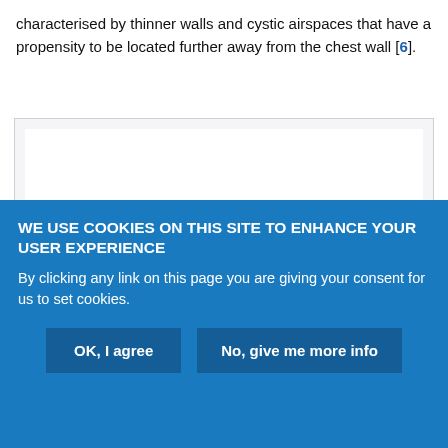characterised by thinner walls and cystic airspaces that have a propensity to be located further away from the chest wall [6].
[Figure (photo): Medical image placeholder — white rectangle within a light grey bordered box]
WE USE COOKIES ON THIS SITE TO ENHANCE YOUR USER EXPERIENCE
By clicking any link on this page you are giving your consent for us to set cookies.